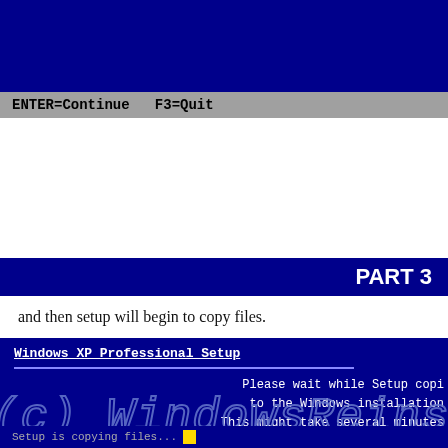[Figure (screenshot): Top portion of Windows XP setup screen showing blue background with gray status bar displaying ENTER=Continue F3=Quit]
PART 3
and then setup will begin to copy files.
[Figure (screenshot): Windows XP Professional Setup screen showing 'Please wait while Setup copies files to the Windows installation folder. This might take several minutes' with watermark text '(c) Setup is copying files... WindowsReins' and a yellow cursor block at bottom]